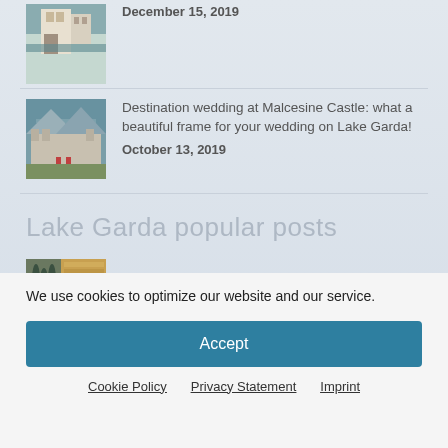[Figure (photo): Thumbnail of a lakeside castle/building]
December 15, 2019
[Figure (photo): Thumbnail of Malcesine Castle with garden and lake]
Destination wedding at Malcesine Castle: what a beautiful frame for your wedding on Lake Garda!
October 13, 2019
Lake Garda popular posts
[Figure (photo): Thumbnail with trees and stone/golden texture]
Fairy tale wedding on Garda Island
We use cookies to optimize our website and our service.
Accept
Cookie Policy   Privacy Statement   Imprint